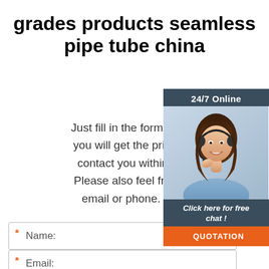grades products seamless pipe tube china
Just fill in the form below, click submit, you will get the price list, and we will contact you within one working day. Please also feel free to contact us via email or phone. (* is required)
[Figure (photo): Customer service representative with headset, smiling, with '24/7 Online' banner and 'Click here for free chat!' text and QUOTATION button]
* Name:
* Email:
Please Enter Other Contact Information